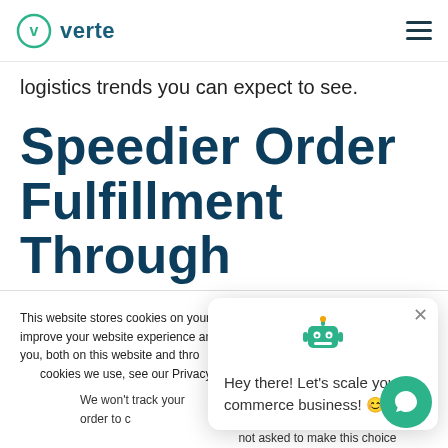verte
logistics trends you can expect to see.
Speedier Order Fulfillment Through
This website stores cookies on your computer. These cookies are used to improve your website experience and provide more personalized services to you, both on this website and through other media. To find out more about the cookies we use, see our Privacy P...
We won't track your visit to this site. But in order to comply with your preferences, we'll have to use just one tiny cookie so that you're not asked to make this choice again.
Hey there! Let's scale your e-commerce business! 😊
Accept
Decline